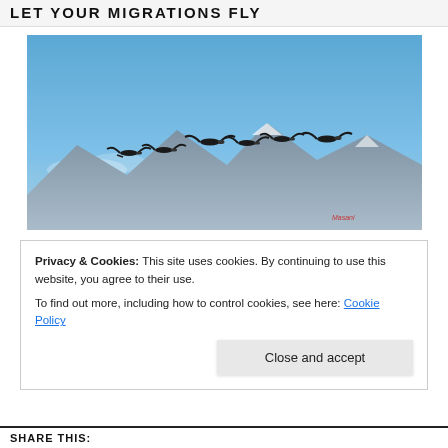LET YOUR MIGRATIONS FLY
[Figure (photo): Six Canada geese flying in formation against a blue sky, with mountains and snow-capped peaks in the background. A small red watermark is visible in the lower right corner.]
Privacy & Cookies: This site uses cookies. By continuing to use this website, you agree to their use.
To find out more, including how to control cookies, see here: Cookie Policy
Close and accept
SHARE THIS: